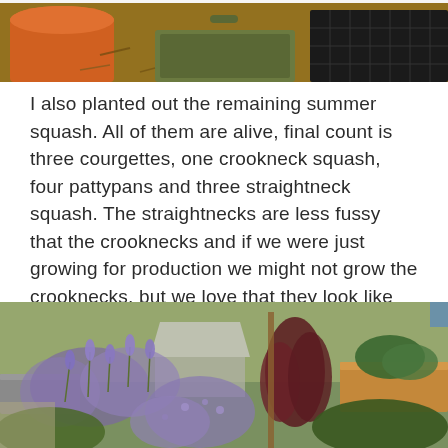[Figure (photo): Top portion of a garden scene showing an orange pot, a green tray, and a black seed tray on wood chip mulch]
I also planted out the remaining summer squash. All of them are alive, final count is three courgettes, one crookneck squash, four pattypans and three straightneck squash. The straightnecks are less fussy that the crooknecks and if we were just growing for production we might not grow the crooknecks, but we love that they look like swans....
[Figure (photo): Garden bed with lush purple flowering plants (likely lavender and catmint), a dark-leaved plant, and raised wooden beds with green vegetables in the background]